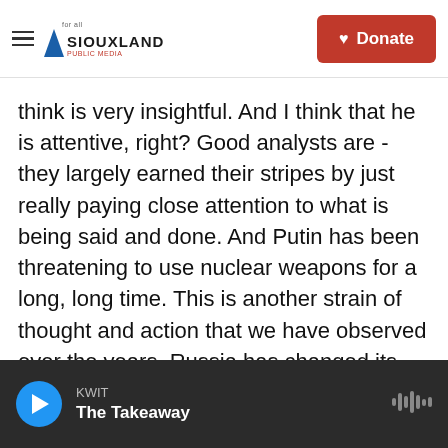Siouxland Public Media — Donate
think is very insightful. And I think that he is attentive, right? Good analysts are - they largely earned their stripes by just really paying close attention to what is being said and done. And Putin has been threatening to use nuclear weapons for a long, long time. This is another strain of thought and action that we have observed over the years. Russia has changed its military doctrine to make it easier to use nuclear weapons. And this happened many years ago. Putin has repeatedly reminded the world, and in particular the United States, that Russia is a nuclear power.
KWIT — The Takeaway